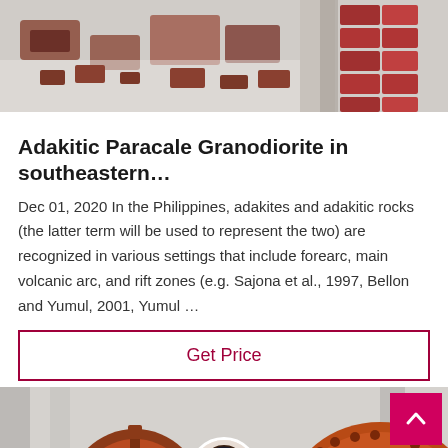[Figure (photo): Top banner image showing industrial metal parts and equipment on a surface, with machinery in the background (reddish-orange components).]
Adakitic Paracale Granodiorite in southeastern...
Dec 01, 2020 In the Philippines, adakites and adakitic rocks (the latter term will be used to represent the two) are recognized in various settings that include forearc, main volcanic arc, and rift zones (e.g. Sajona et al., 1997, Bellon and Yumul, 2001, Yumul ...
Get Price
[Figure (photo): Bottom section showing industrial machinery with large orange gears/mill wheels inside an industrial facility. A customer support agent avatar is shown in a circular frame at the bottom center.]
Leave Message
Chat Online